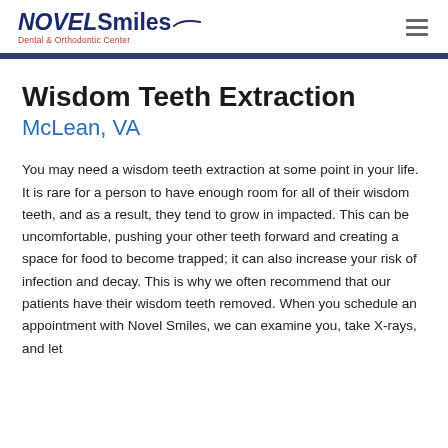NOVEL Smiles Dental & Orthodontic Center
Wisdom Teeth Extraction
McLean, VA
You may need a wisdom teeth extraction at some point in your life. It is rare for a person to have enough room for all of their wisdom teeth, and as a result, they tend to grow in impacted. This can be uncomfortable, pushing your other teeth forward and creating a space for food to become trapped; it can also increase your risk of infection and decay. This is why we often recommend that our patients have their wisdom teeth removed. When you schedule an appointment with Novel Smiles, we can examine you, take X-rays, and let